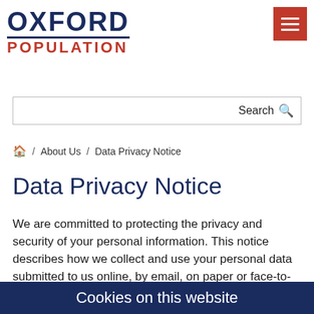[Figure (logo): Oxford Population logo: OXFORD in large dark navy bold text with a navy underline, POPULATION in large red bold text below]
Search
🏠 / About Us / Data Privacy Notice
Data Privacy Notice
We are committed to protecting the privacy and security of your personal information. This notice describes how we collect and use your personal data submitted to us online, by email, on paper or face-to-face, in accordance with the UK General Data Protection Regulation (UK GDPR) and associated data protection legislation.
Cookies on this website